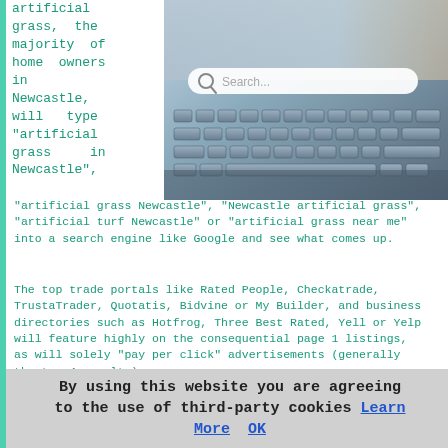artificial grass, the majority of home owners in Newcastle, will type "artificial grass in Newcastle",
[Figure (photo): A laptop keyboard with a search bar overlay showing 'Search...' text with a magnifying glass icon, photo taken from above at an angle.]
"artificial grass Newcastle", "Newcastle artificial grass", "artificial turf Newcastle" or "artificial grass near me" into a search engine like Google and see what comes up.
The top trade portals like Rated People, Checkatrade, TrustaTrader, Quotatis, Bidvine or My Builder, and business directories such as Hotfrog, Three Best Rated, Yell or Yelp will feature highly on the consequential page 1 listings, as will solely "pay per click" advertisements (generally the top 4 results).
For any artificial grass installer in Newcastle who have a website, the likelihood is that they will be abandoned on page 2 or 3 of the search engine results, and you'll have
By using this website you are agreeing to the use of third-party cookies Learn More  OK